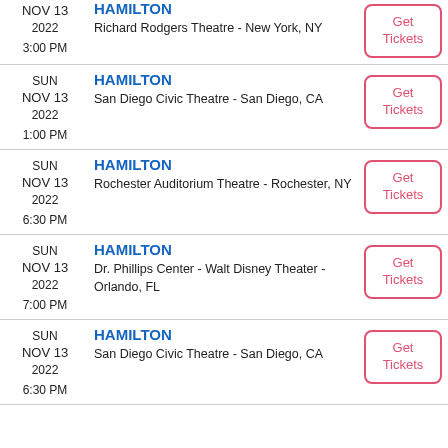SUN NOV 13 2022 3:00 PM | HAMILTON | Richard Rodgers Theatre - New York, NY
SUN NOV 13 2022 1:00 PM | HAMILTON | San Diego Civic Theatre - San Diego, CA
SUN NOV 13 2022 6:30 PM | HAMILTON | Rochester Auditorium Theatre - Rochester, NY
SUN NOV 13 2022 7:00 PM | HAMILTON | Dr. Phillips Center - Walt Disney Theater - Orlando, FL
SUN NOV 13 2022 6:30 PM | HAMILTON | San Diego Civic Theatre - San Diego, CA